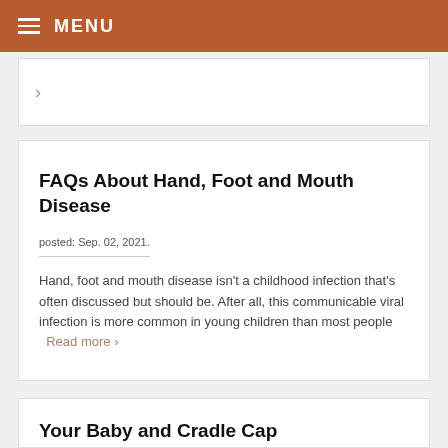MENU
>
FAQs About Hand, Foot and Mouth Disease
posted: Sep. 02, 2021.
Hand, foot and mouth disease isn't a childhood infection that's often discussed but should be. After all, this communicable viral infection is more common in young children than most people  Read more >
Your Baby and Cradle Cap